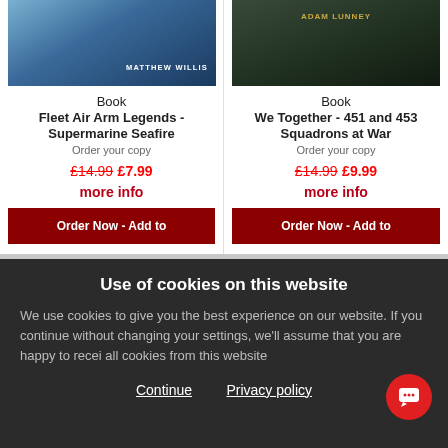[Figure (photo): Book cover for Fleet Air Arm Legends - Supermarine Seafire by Matthew Willis]
[Figure (photo): Book cover for We Together - 451 and 453 Squadrons at War by Adam Lunney]
Book
Fleet Air Arm Legends - Supermarine Seafire
Order your copy
£14.99 £7.99
more info
Order Now - Add to
Book
We Together - 451 and 453 Squadrons at War
Order your copy
£14.99 £9.99
more info
Order Now - Add to
Use of cookies on this website
We use cookies to give you the best experience on our website. If you continue without changing your settings, we'll assume that you are happy to receive all cookies from this website
Continue   Privacy policy